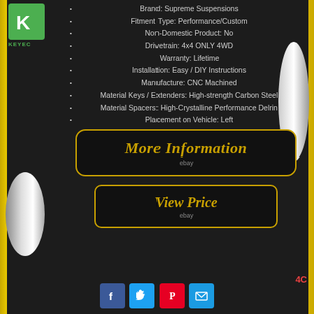[Figure (logo): KEYEC green logo with K letter in green square and text below]
Brand: Supreme Suspensions
Fitment Type: Performance/Custom
Non-Domestic Product: No
Drivetrain: 4x4 ONLY 4WD
Warranty: Lifetime
Installation: Easy / DIY Instructions
Manufacture: CNC Machined
Material Keys / Extenders: High-strength Carbon Steel
Material Spacers: High-Crystalline Performance Delrin
Placement on Vehicle: Left
[Figure (infographic): More Information button with gold border and ebay text]
[Figure (infographic): View Price button with gold border and ebay text]
[Figure (infographic): Social media share buttons: Facebook, Twitter, Pinterest, Email]